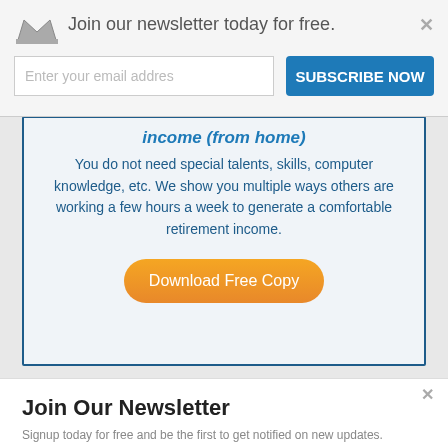Join our newsletter today for free.
Enter your email address
SUBSCRIBE NOW
income (from home)
You do not need special talents, skills, computer knowledge, etc. We show you multiple ways others are working a few hours a week to generate a comfortable retirement income.
Download Free Copy
Join Our Newsletter
Signup today for free and be the first to get notified on new updates.
Enter your Email
SUBSCRIBE NOW